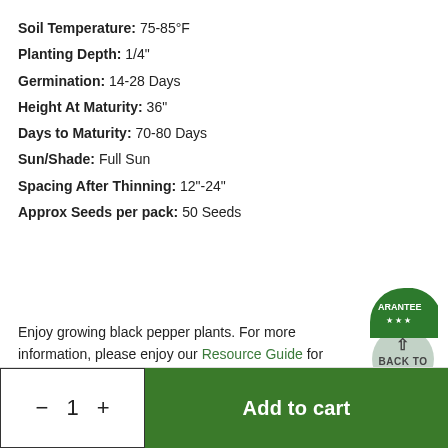Soil Temperature: 75-85°F
Planting Depth: 1/4"
Germination: 14-28 Days
Height At Maturity: 36"
Days to Maturity: 70-80 Days
Sun/Shade: Full Sun
Spacing After Thinning: 12"-24"
Approx Seeds per pack: 50 Seeds
Enjoy growing black pepper plants. For more information, please enjoy our Resource Guide for planting and growing peppers.
Peaceful Valley Farm & Garden Supply brand seeds are
[Figure (other): Back to Top circular button with upward arrow]
[Figure (other): Guaranteed badge/seal partially visible in bottom right corner]